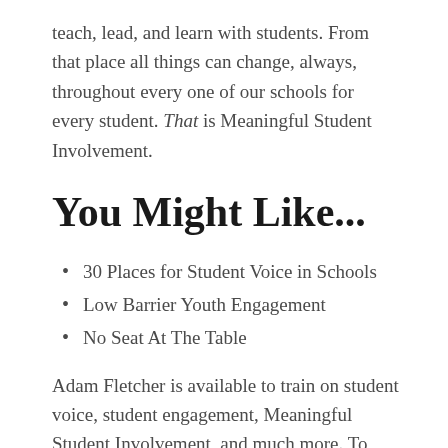teach, lead, and learn with students. From that place all things can change, always, throughout every one of our schools for every student. That is Meaningful Student Involvement.
You Might Like...
30 Places for Student Voice in Schools
Low Barrier Youth Engagement
No Seat At The Table
Adam Fletcher is available to train on student voice, student engagement, Meaningful Student Involvement, and much more. To talk about the possibilities give a call to Adam at (360) 489-9680.